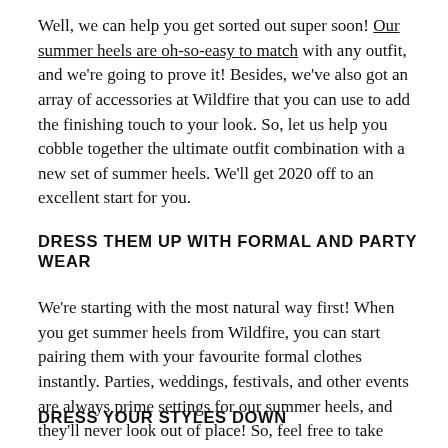Well, we can help you get sorted out super soon! Our summer heels are oh-so-easy to match with any outfit, and we're going to prove it! Besides, we've also got an array of accessories at Wildfire that you can use to add the finishing touch to your look. So, let us help you cobble together the ultimate outfit combination with a new set of summer heels. We'll get 2020 off to an excellent start for you.
DRESS THEM UP WITH FORMAL AND PARTY WEAR
We're starting with the most natural way first! When you get summer heels from Wildfire, you can start pairing them with your favourite formal clothes instantly. Parties, weddings, festivals, and other events are always prime settings for our summer heels, and they'll never look out of place! So, feel free to take these out with formal wear whenever.
DRESS YOUR STYLES DOWN